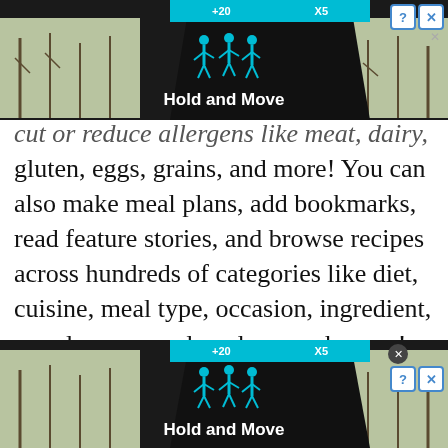[Figure (screenshot): Ad banner showing 'Hold and Move' app with road scene, trees, cyan walking figure icons, top bar with +20 X5 labels, close buttons (? X)]
cut or reduce allergens like meat, dairy, soy, gluten, eggs, grains, and more! You can also make meal plans, add bookmarks, read feature stories, and browse recipes across hundreds of categories like diet, cuisine, meal type, occasion, ingredient, popular, seasonal, and so much more!
For more Animal, Earth, Life, Vegan Food, Health, and Recipe content published daily, subscribe to the One Green Planet Newsletter!
[Figure (screenshot): Second ad banner showing 'Hold and Move' app with road scene, trees, cyan walking figure icons, bottom close button (? X) with circular X in top-right]